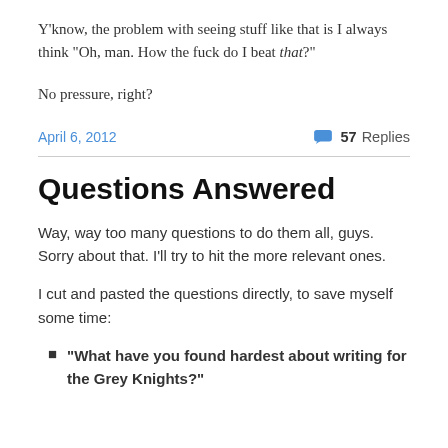Y'know, the problem with seeing stuff like that is I always think “Oh, man. How the fuck do I beat that?”
No pressure, right?
April 6, 2012
57 Replies
Questions Answered
Way, way too many questions to do them all, guys. Sorry about that. I’ll try to hit the more relevant ones.
I cut and pasted the questions directly, to save myself some time:
“What have you found hardest about writing for the Grey Knights?”